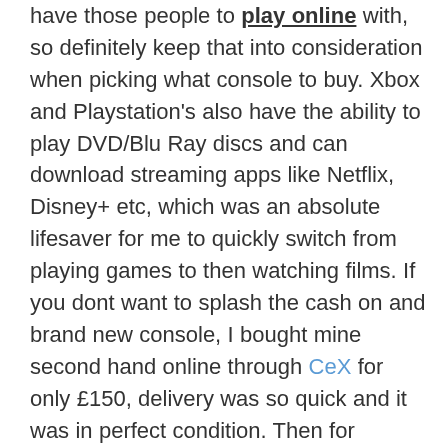have those people to play online with, so definitely keep that into consideration when picking what console to buy. Xbox and Playstation's also have the ability to play DVD/Blu Ray discs and can download streaming apps like Netflix, Disney+ etc, which was an absolute lifesaver for me to quickly switch from playing games to then watching films. If you dont want to splash the cash on and brand new console, I bought mine second hand online through CeX for only £150, delivery was so quick and it was in perfect condition. Then for Christmas this year, I was gifted a Nintendo Switch which I have wanted for SO LONG. Being a Nintendo girl from birth (still cannot beat Matt the Mii at boxing) I knew there was a lot of games I wanted to play on there. My switch is now